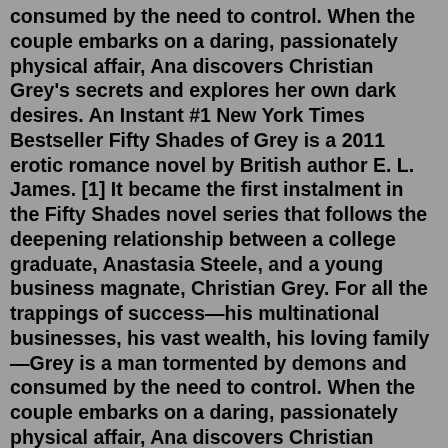consumed by the need to control. When the couple embarks on a daring, passionately physical affair, Ana discovers Christian Grey's secrets and explores her own dark desires. An Instant #1 New York Times Bestseller Fifty Shades of Grey is a 2011 erotic romance novel by British author E. L. James. [1] It became the first instalment in the Fifty Shades novel series that follows the deepening relationship between a college graduate, Anastasia Steele, and a young business magnate, Christian Grey. For all the trappings of success—his multinational businesses, his vast wealth, his loving family—Grey is a man tormented by demons and consumed by the need to control. When the couple embarks on a daring, passionately physical affair, Ana discovers Christian Grey's secrets and explores her own dark desires. An Instant #1 New York Times Bestseller When the couple embarks on a daring, passionately physical affair, Ana discovers Christian Grey's secrets and explores her own dark desires. Erotic, amusing, and deeply moving, the Fifty Shades Trilogy is a tale that